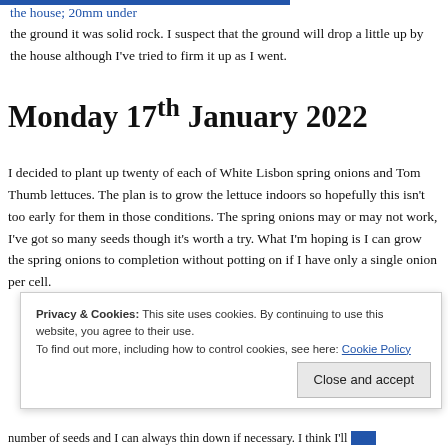the house; 20mm under the ground it was solid rock. I suspect that the ground will drop a little up by the house although I've tried to firm it up as I went.
Monday 17th January 2022
I decided to plant up twenty of each of White Lisbon spring onions and Tom Thumb lettuces. The plan is to grow the lettuce indoors so hopefully this isn't too early for them in those conditions. The spring onions may or may not work, I've got so many seeds though it's worth a try. What I'm hoping is I can grow the spring onions to completion without potting on if I have only a single onion per cell.
Privacy & Cookies: This site uses cookies. By continuing to use this website, you agree to their use.
To find out more, including how to control cookies, see here: Cookie Policy
number of seeds and I can always thin down if necessary. I think I'll plant